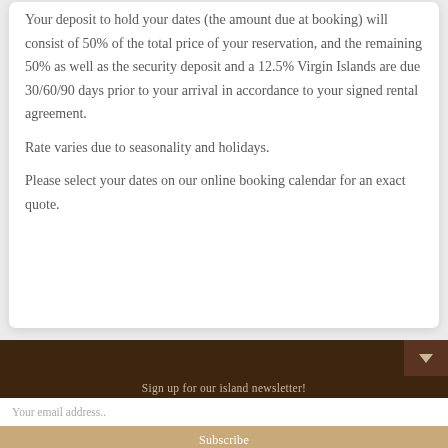Your deposit to hold your dates (the amount due at booking) will consist of 50% of the total price of your reservation, and the remaining 50% as well as the security deposit and a 12.5% Virgin Islands are due 30/60/90 days prior to your arrival in accordance to your signed rental agreement.
Rate varies due to seasonality and holidays.
Please select your dates on our online booking calendar for an exact quote.
Sign up for our island newsletter!
Your email address..
Subscribe